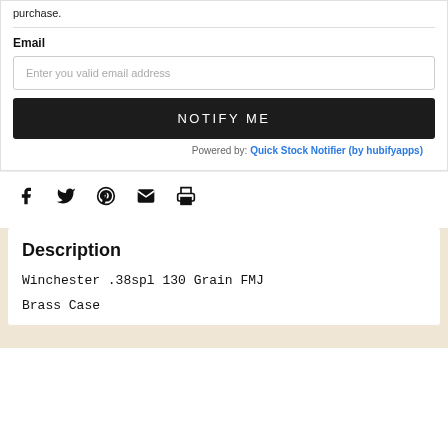purchase.
Email
Enter you valid email address
NOTIFY ME
Powered by: Quick Stock Notifier (by hubifyapps)
[Figure (illustration): Social share icons: Facebook, Twitter, Pinterest, Email, Print]
Description
Winchester .38spl  130 Grain FMJ
Brass Case